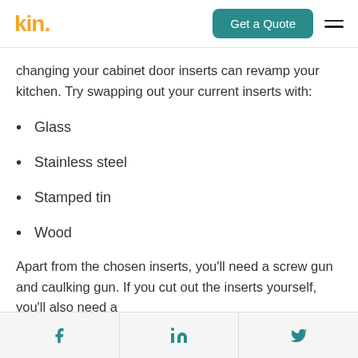kin. | Get a Quote
changing your cabinet door inserts can revamp your kitchen. Try swapping out your current inserts with:
Glass
Stainless steel
Stamped tin
Wood
Apart from the chosen inserts, you'll need a screw gun and caulking gun. If you cut out the inserts yourself, you'll also need a
Facebook | LinkedIn | Twitter